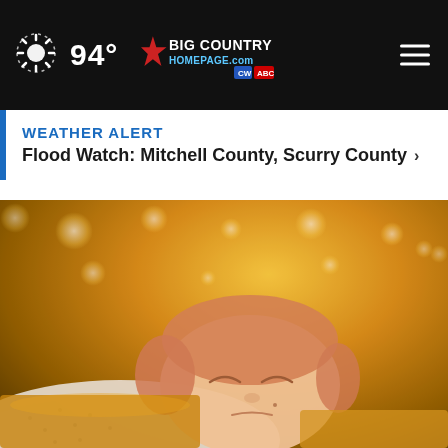94°
WEATHER ALERT
Flood Watch: Mitchell County, Scurry County ›
[Figure (photo): Child sleeping on golden-toned bedding with bokeh fairy lights in the background]